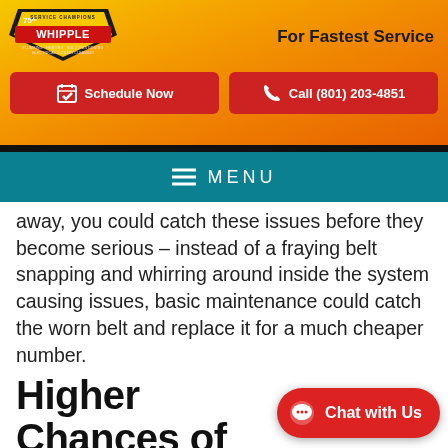[Figure (logo): Whipple Service Champions 75th anniversary logo]
For Fastest Service
Schedule Now
Call (801) 203-4851
MENU
away, you could catch these issues before they become serious – instead of a fraying belt snapping and whirring around inside the system causing issues, basic maintenance could catch the worn belt and replace it for a much cheaper number.
Higher Chances of Big Issues